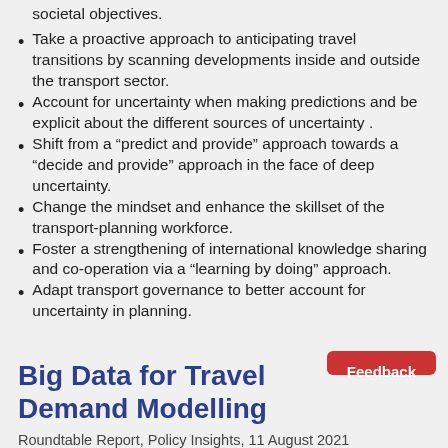societal objectives.
Take a proactive approach to anticipating travel transitions by scanning developments inside and outside the transport sector.
Account for uncertainty when making predictions and be explicit about the different sources of uncertainty .
Shift from a “predict and provide” approach towards a “decide and provide” approach in the face of deep uncertainty.
Change the mindset and enhance the skillset of the transport-planning workforce.
Foster a strengthening of international knowledge sharing and co-operation via a “learning by doing” approach.
Adapt transport governance to better account for uncertainty in planning.
Big Data for Travel Demand Modelling
Roundtable Report, Policy Insights, 11 August 2021